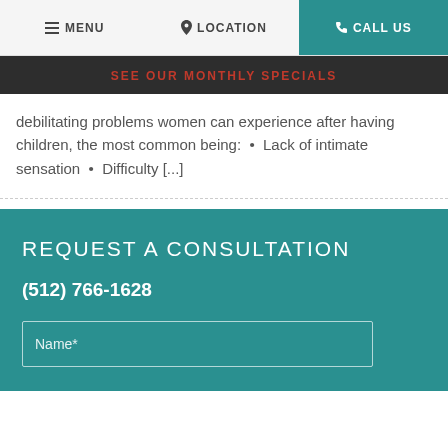MENU  LOCATION  CALL US
SEE OUR MONTHLY SPECIALS
debilitating problems women can experience after having children, the most common being:  •  Lack of intimate sensation  •  Difficulty [...]
REQUEST A CONSULTATION
(512) 766-1628
Name*